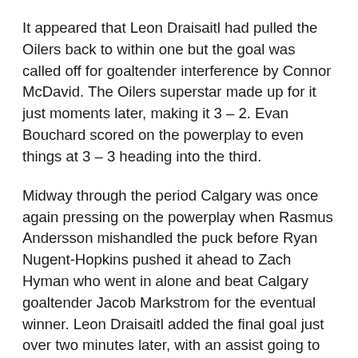It appeared that Leon Draisaitl had pulled the Oilers back to within one but the goal was called off for goaltender interference by Connor McDavid. The Oilers superstar made up for it just moments later, making it 3 – 2. Evan Bouchard scored on the powerplay to even things at 3 – 3 heading into the third.
Midway through the period Calgary was once again pressing on the powerplay when Rasmus Andersson mishandled the puck before Ryan Nugent-Hopkins pushed it ahead to Zach Hyman who went in alone and beat Calgary goaltender Jacob Markstrom for the eventual winner. Leon Draisaitl added the final goal just over two minutes later, with an assist going to goalie Smith to even the series for Edmonton. Both Smith and Markstrom faced 40 shots in the game.
Now that the Oilers have taken home-ice advantage away from the Flames, the series moves up the QE II highway for